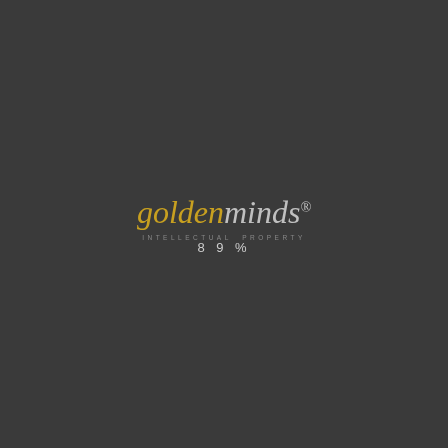[Figure (logo): Goldenminds Intellectual Property logo with golden italic text 'golden' and grey italic text 'minds' with registered trademark symbol, and tagline 'INTELLECTUAL PROPERTY' in small spaced caps below]
89%